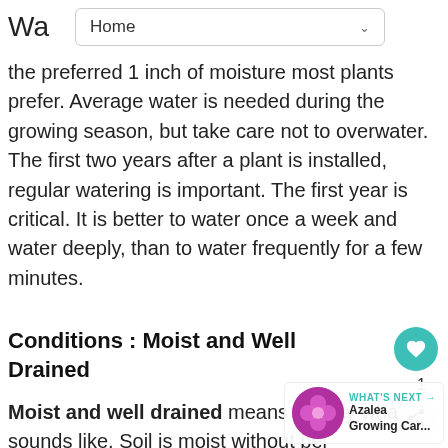Wa Home
the preferred 1 inch of moisture most plants prefer. Average water is needed during the growing season, but take care not to overwater. The first two years after a plant is installed, regular watering is important. The first year is critical. It is better to water once a week and water deeply, than to water frequently for a few minutes.
Conditions : Moist and Well Drained
Moist and well drained means exactly what it sounds like. Soil is moist without being wet because the texture of the soil allows excess moisture to drain away. Most plants like about